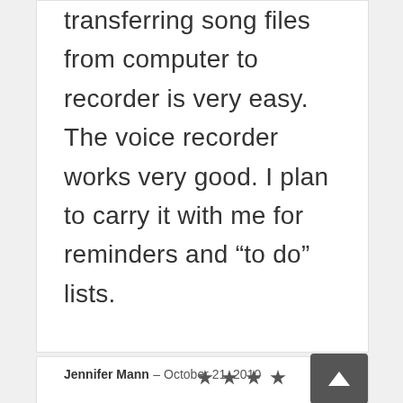transferring song files from computer to recorder is very easy. The voice recorder works very good. I plan to carry it with me for reminders and “to do” lists.
Jennifer Mann – October 21, 2010